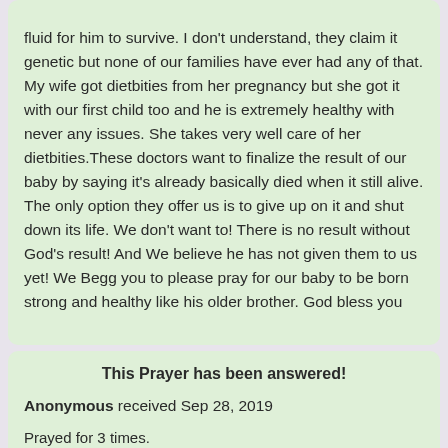fluid for him to survive. I don't understand, they claim it genetic but none of our families have ever had any of that. My wife got dietbities from her pregnancy but she got it with our first child too and he is extremely healthy with never any issues. She takes very well care of her dietbities.These doctors want to finalize the result of our baby by saying it's already basically died when it still alive. The only option they offer us is to give up on it and shut down its life. We don't want to! There is no result without God's result! And We believe he has not given them to us yet! We Begg you to please pray for our baby to be born strong and healthy like his older brother. God bless you
This Prayer has been answered!
Anonymous received Sep 28, 2019
Prayed for 3 times.